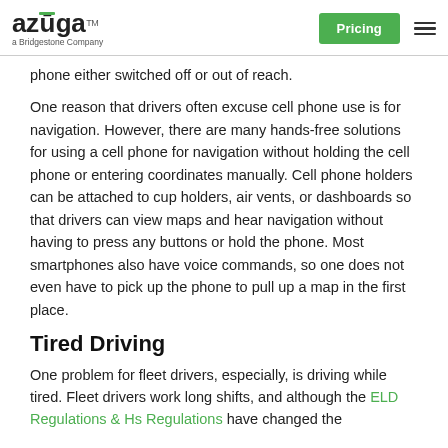azuga a Bridgestone Company | Pricing
phone either switched off or out of reach.
One reason that drivers often excuse cell phone use is for navigation. However, there are many hands-free solutions for using a cell phone for navigation without holding the cell phone or entering coordinates manually. Cell phone holders can be attached to cup holders, air vents, or dashboards so that drivers can view maps and hear navigation without having to press any buttons or hold the phone. Most smartphones also have voice commands, so one does not even have to pick up the phone to pull up a map in the first place.
Tired Driving
One problem for fleet drivers, especially, is driving while tired. Fleet drivers work long shifts, and although the ELD Regulations & Hs Regulations have changed the